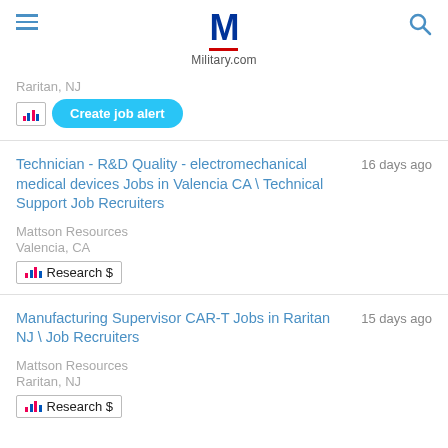Military.com
Raritan, NJ
Create job alert
Technician - R&D Quality - electromechanical medical devices Jobs in Valencia CA \ Technical Support Job Recruiters
16 days ago
Mattson Resources
Valencia, CA
Research $
Manufacturing Supervisor CAR-T Jobs in Raritan NJ \ Job Recruiters
15 days ago
Mattson Resources
Raritan, NJ
Research $